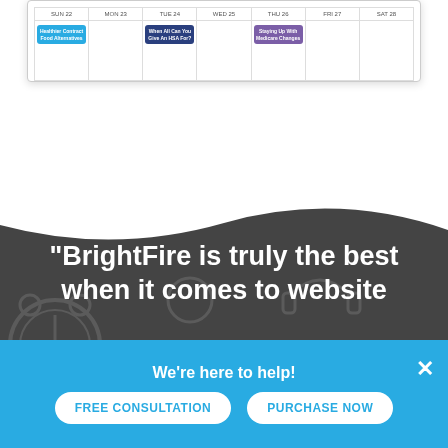[Figure (screenshot): Calendar content scheduling view showing three events: a blue event, a navy blue event, and a purple event on different days]
"BrightFire is truly the best when it comes to website
We're here to help!
FREE CONSULTATION
PURCHASE NOW